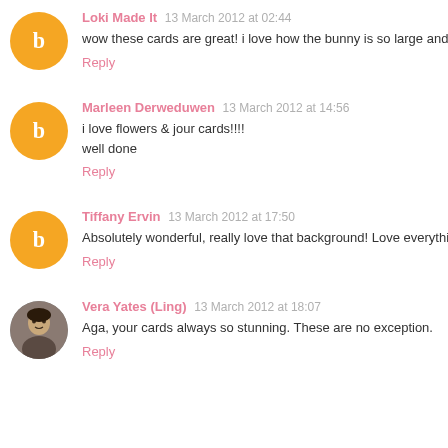Loki Made It  13 March 2012 at 02:44
wow these cards are great! i love how the bunny is so large and PIN
Reply
Marleen Derweduwen  13 March 2012 at 14:56
i love flowers & jour cards!!!!
well done
Reply
Tiffany Ervin  13 March 2012 at 17:50
Absolutely wonderful, really love that background! Love everything y
Reply
Vera Yates (Ling)  13 March 2012 at 18:07
Aga, your cards always so stunning. These are no exception.
Reply